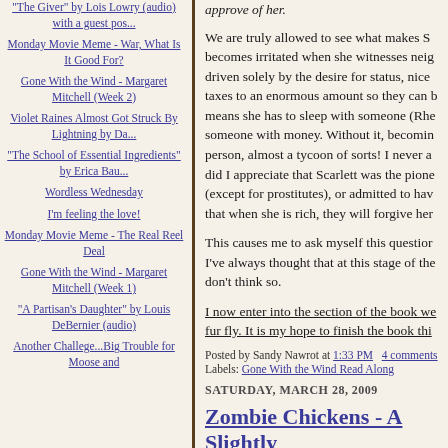"The Giver" by Lois Lowry (audio) with a guest pos...
Monday Movie Meme - War, What Is It Good For?
Gone With the Wind - Margaret Mitchell (Week 2)
Violet Raines Almost Got Struck By Lightning by Da...
"The School of Essential Ingredients" by Erica Bau...
Wordless Wednesday
I'm feeling the love!
Monday Movie Meme - The Real Reel Deal
Gone With the Wind - Margaret Mitchell (Week 1)
"A Partisan's Daughter" by Louis DeBernier (audio)
Another Challege...Big Trouble for Moose and
approve of her.
We are truly allowed to see what makes Sc becomes irritated when she witnesses neig driven solely by the desire for status, nice taxes to an enormous amount so they can b means she has to sleep with someone (Rhe someone with money. Without it, becomin person, almost a tycoon of sorts! I never a did I appreciate that Scarlett was the pione (except for prostitutes), or admitted to hav that when she is rich, they will forgive her
This causes me to ask myself this questior I've always thought that at this stage of the don't think so.
I now enter into the section of the book we fur fly. It is my hope to finish the book thi
Posted by Sandy Nawrot at 1:33 PM   4 comments
Labels: Gone With the Wind Read Along
SATURDAY, MARCH 28, 2009
Zombie Chickens - A Slightly
[Figure (illustration): Green-background illustration showing a cartoon zombie chicken character]